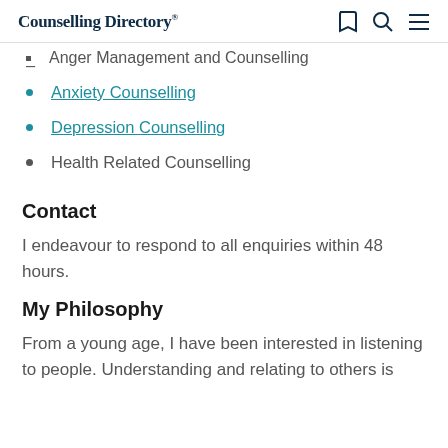Counselling Directory
Anger Management and Counselling
Anxiety Counselling
Depression Counselling
Health Related Counselling
Contact
I endeavour to respond to all enquiries within 48 hours.
My Philosophy
From a young age, I have been interested in listening to people. Understanding and relating to others is